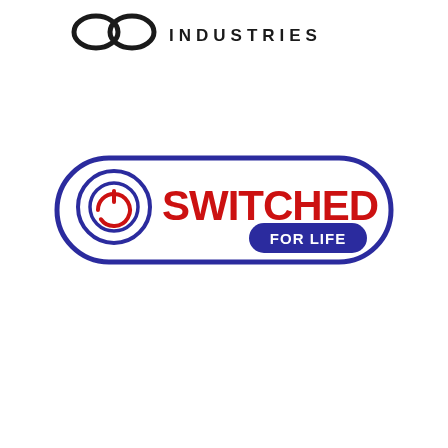[Figure (logo): Infinity Industries logo at top — two overlapping circles forming an infinity symbol in dark charcoal/black, followed by the text INDUSTRIES in spaced capital letters]
[Figure (logo): Switched For Life logo — a rounded rectangle border in dark blue/navy, with a power button icon on the left (concentric circles with a power symbol in red), the word SWITCHED in large bold red letters, and a dark blue rounded pill badge containing FOR LIFE in white text]